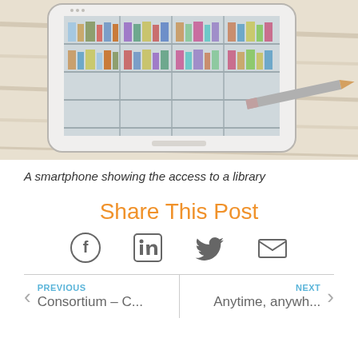[Figure (photo): A smartphone with a miniature library building rising out of its screen, placed next to a pencil on a wooden surface.]
A smartphone showing the access to a library
Share This Post
[Figure (infographic): Social share icons: Facebook, LinkedIn, Twitter, Email]
PREVIOUS Consortium – C...
NEXT Anytime, anywh...